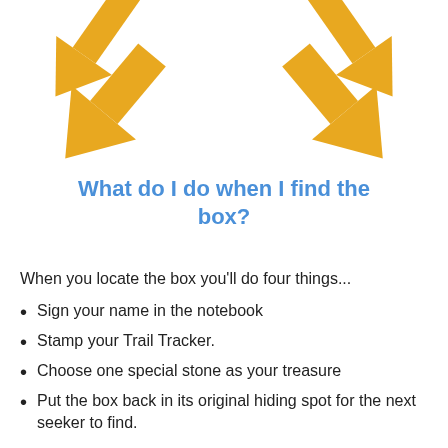[Figure (illustration): Two pairs of golden/orange diagonal arrows pointing downward and inward, arranged in an X pattern converging toward the center]
What do I do when I find the box?
When you locate the box you'll do four things...
Sign your name in the notebook
Stamp your Trail Tracker.
Choose one special stone as your treasure
Put the box back in its original hiding spot for the next seeker to find.